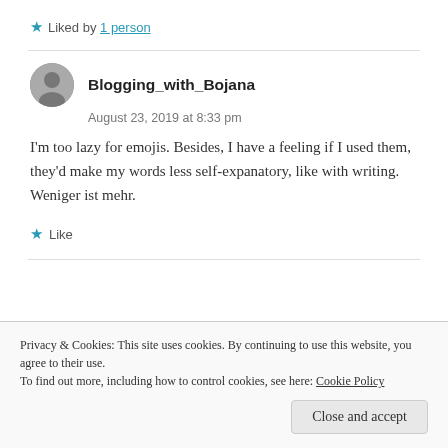Liked by 1 person
Blogging_with_Bojana
August 23, 2019 at 8:33 pm
I'm too lazy for emojis. Besides, I have a feeling if I used them, they'd make my words less self-expanatory, like with writing. Weniger ist mehr.
Like
Privacy & Cookies: This site uses cookies. By continuing to use this website, you agree to their use.
To find out more, including how to control cookies, see here: Cookie Policy
Close and accept